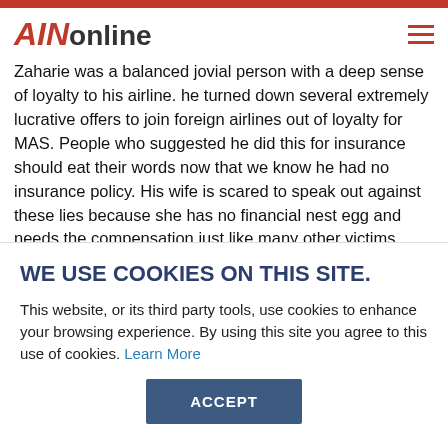AINonline
Zaharie was a balanced jovial person with a deep sense of loyalty to his airline. he turned down several extremely lucrative offers to join foreign airlines out of loyalty for MAS. People who suggested he did this for insurance should eat their words now that we know he had no insurance policy. His wife is scared to speak out against these lies because she has no financial nest egg and needs the compensation just like many other victims.

Zaharie set up the home simulator as a Training captain to help his
WE USE COOKIES ON THIS SITE.
This website, or its third party tools, use cookies to enhance your browsing experience. By using this site you agree to this use of cookies. Learn More
ACCEPT